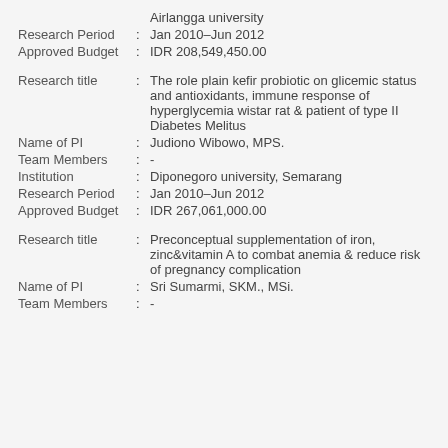Airlangga university
Research Period : Jan 2010–Jun 2012
Approved Budget : IDR 208,549,450.00
Research title : The role plain kefir probiotic on glicemic status and antioxidants, immune response of hyperglycemia wistar rat & patient of type II Diabetes Melitus
Name of PI : Judiono Wibowo, MPS.
Team Members : -
Institution : Diponegoro university, Semarang
Research Period : Jan 2010–Jun 2012
Approved Budget : IDR 267,061,000.00
Research title : Preconceptual supplementation of iron, zinc&vitamin A to combat anemia & reduce risk of pregnancy complication
Name of PI : Sri Sumarmi, SKM., MSi.
Team Members : -